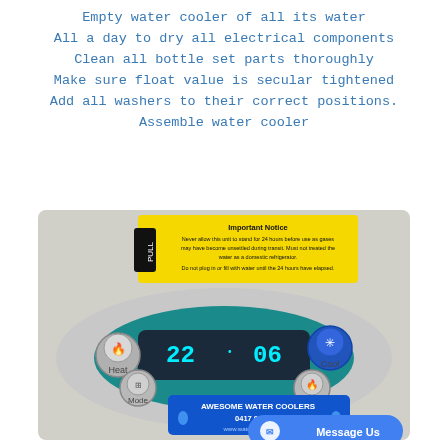Empty water cooler of all its water
All a day to dry all electrical components
Clean all bottle set parts thoroughly
Make sure float value is secular tightened
Add all washers to their correct positions.
Assemble water cooler
[Figure (photo): Water cooler control panel with digital display showing 22 and 06, buttons for Heat, Mode, Cool, Select, a yellow Important Notice sticker reading 'Never allow this unit to stand for 24 hours before use as gases may have become unsettled during transit. Must not treated the water as a domestic refrigerator. Do not plug in or fill with water until the 24 hours have elapsed.', and a blue AWESOME WATER COOLERS sticker with phone 0417 095 600 and www.watercoolerswa.com. A Facebook Messenger 'Message Us' button overlay appears at bottom right.]